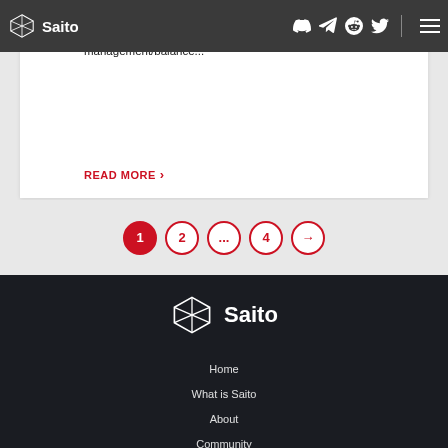Saito
2021-11-12 The Saito Project has removed 25% of it's liquidity on the ETH/SAITO and USDT/SAITO pairs. This is a treasury management/balance...
READ MORE
1 2 ... 4 →
[Figure (logo): Saito logo with 3D cube icon and Saito wordmark in white on dark background]
Home
What is Saito
About
Community
Blog
Contact